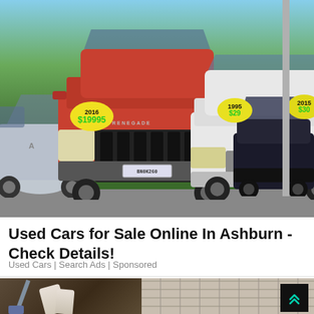[Figure (photo): Photo of used cars on a dealership lot. A red Jeep Renegade 2016 priced at $19,995 is prominently in the center, with Acura vehicles on the left and a white SUV on the right. Price stickers in yellow on windshields.]
Used Cars for Sale Online In Ashburn - Check Details!
Used Cars | Search Ads | Sponsored
[Figure (photo): Partial photo showing a person digging in soil next to a brick wall, partially visible at the bottom of the page. A dark scroll-to-top button with teal double-chevron arrows is overlaid on the right side.]